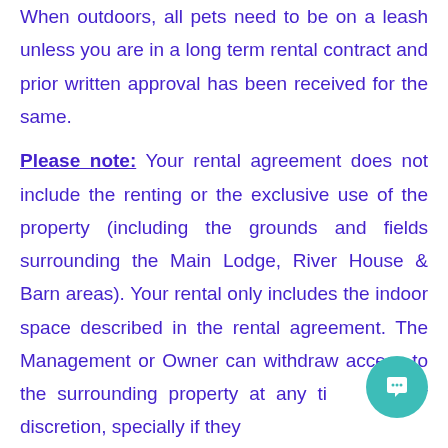When outdoors, all pets need to be on a leash unless you are in a long term rental contract and prior written approval has been received for the same. Please note: Your rental agreement does not include the renting or the exclusive use of the property (including the grounds and fields surrounding the Main Lodge, River House & Barn areas). Your rental only includes the indoor space described in the rental agreement. The Management or Owner can withdraw access to the surrounding property at any time at their discretion, specially if they